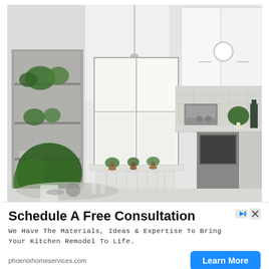[Figure (photo): Interior photo of a modern Scandinavian-style kitchen with white walls, white upper cabinets, pendant light with globe shade, large window with potted plants on the sill, stainless steel espresso machine on the counter, green plants on a shelving unit to the left, and a dining table in the foreground.]
Schedule A Free Consultation
We Have The Materials, Ideas & Expertise To Bring Your Kitchen Remodel To Life.
phoenixhomeservices.com